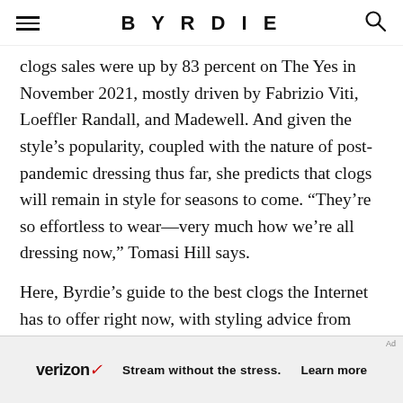BYRDIE
clogs sales were up by 83 percent on The Yes in November 2021, mostly driven by Fabrizio Viti, Loeffler Randall, and Madewell. And given the style's popularity, coupled with the nature of post-pandemic dressing thus far, she predicts that clogs will remain in style for seasons to come. “They’re so effortless to wear—very much how we’re all dressing now,” Tomasi Hill says.
Here, Byrdie’s guide to the best clogs the Internet has to offer right now, with styling advice from these experts, as well as information on how to best care for
[Figure (other): Verizon advertisement banner: verizon logo, 'Stream without the stress.', 'Learn more']